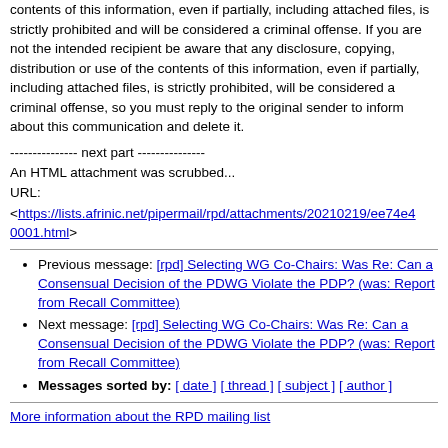contents of this information, even if partially, including attached files, is strictly prohibited and will be considered a criminal offense. If you are not the intended recipient be aware that any disclosure, copying, distribution or use of the contents of this information, even if partially, including attached files, is strictly prohibited, will be considered a criminal offense, so you must reply to the original sender to inform about this communication and delete it.
--------------- next part ---------------
An HTML attachment was scrubbed...
URL:
<https://lists.afrinic.net/pipermail/rpd/attachments/20210219/ee74e40001.html>
Previous message: [rpd] Selecting WG Co-Chairs: Was Re: Can a Consensual Decision of the PDWG Violate the PDP? (was: Report from Recall Committee)
Next message: [rpd] Selecting WG Co-Chairs: Was Re: Can a Consensual Decision of the PDWG Violate the PDP? (was: Report from Recall Committee)
Messages sorted by: [ date ] [ thread ] [ subject ] [ author ]
More information about the RPD mailing list